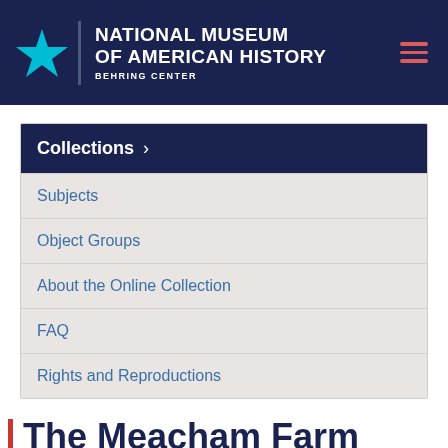NATIONAL MUSEUM OF AMERICAN HISTORY BEHRING CENTER
Collections >
Subjects
Object Groups
About the Online Collection
FAQ
Rights and Reproductions
The Meacham Farm Where I Staid in the Hills